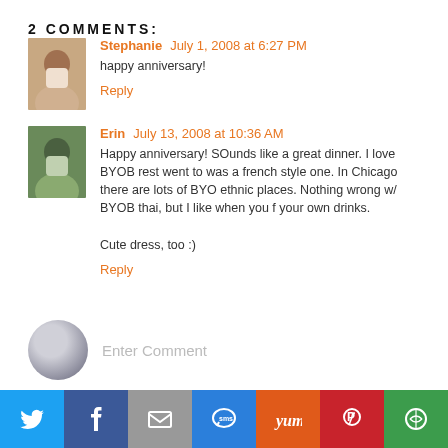2 COMMENTS:
Stephanie  July 1, 2008 at 6:27 PM
happy anniversary!
Reply
Erin  July 13, 2008 at 10:36 AM
Happy anniversary! SOunds like a great dinner. I love BYOB rest went to was a french style one. In Chicago there are lots of BYO ethnic places. Nothing wrong w/ BYOB thai, but I like when you f your own drinks.

Cute dress, too :)
Reply